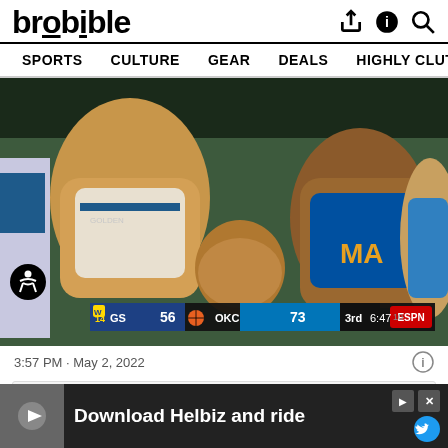brobible
SPORTS  CULTURE  GEAR  DEALS  HIGHLY CLUTCH  SHOP
[Figure (screenshot): NBA basketball game screenshot showing players from Golden State Warriors and OKC Thunder in close contact on the court. Scoreboard shows GS 56, OKC 73, 3rd quarter, 6:47 remaining. ESPN broadcast.]
3:57 PM · May 2, 2022
[Figure (infographic): Advertisement banner: Download Helbiz and ride]